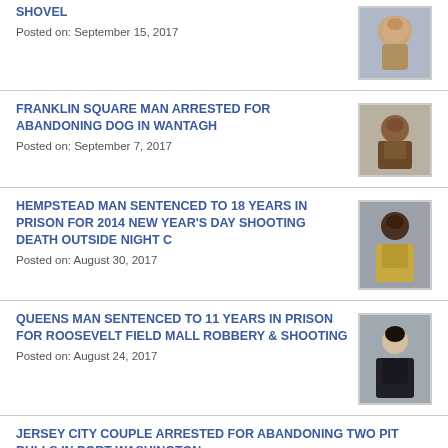SHOVEL
Posted on: September 15, 2017
FRANKLIN SQUARE MAN ARRESTED FOR ABANDONING DOG IN WANTAGH
Posted on: September 7, 2017
HEMPSTEAD MAN SENTENCED TO 18 YEARS IN PRISON FOR 2014 NEW YEAR'S DAY SHOOTING DEATH OUTSIDE NIGHT C
Posted on: August 30, 2017
QUEENS MAN SENTENCED TO 11 YEARS IN PRISON FOR ROOSEVELT FIELD MALL ROBBERY & SHOOTING
Posted on: August 24, 2017
JERSEY CITY COUPLE ARRESTED FOR ABANDONING TWO PIT BULLS IN PORT WASHINGTON
Posted on: August 24, 2017